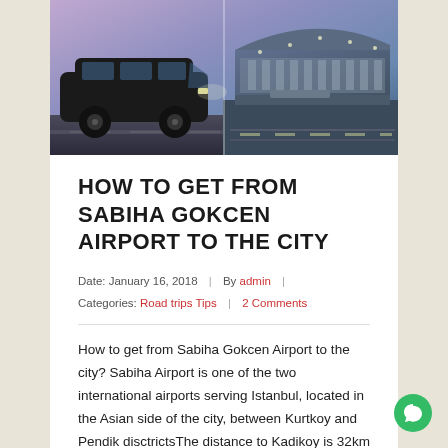[Figure (photo): Hero image showing a black van/minivan on the left side and a modern airport terminal building on the right side, with a purple/blue sky background]
HOW TO GET FROM SABIHA GOKCEN AIRPORT TO THE CITY
Date: January 16, 2018  |  By admin  |  Categories: Road trips Tips  |  2 Comments
How to get from Sabiha Gokcen Airport to the city? Sabiha Airport is one of the two international airports serving Istanbul, located in the Asian side of the city, between Kurtkoy and Pendik disctrictsThe distance to Kadikoy is 32km and to Taksim 45km. This is why the total transfer time to the city center Taksim is less